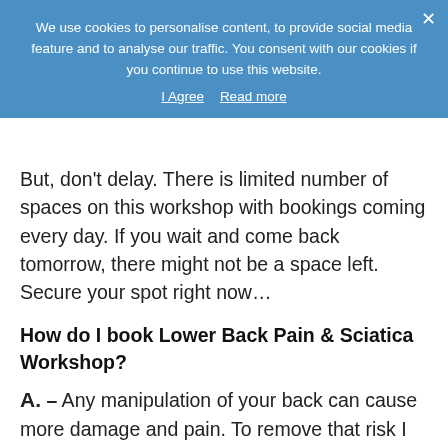times over. Right now, it all starts at just £40 to book your spot and FREE physio assessment.
[Figure (screenshot): Cookie consent banner overlay with blue background. Text reads: 'We use cookies to personalise content, to provide social media feature and to analyse our traffic. You consent with our cookies if you continue to use this website.' With 'I Agree' and 'Read more' links.]
But, don't delay. There is limited number of spaces on this workshop with bookings coming every day. If you wait and come back tomorrow, there might not be a space left. Secure your spot right now…
How do I book Lower Back Pain & Sciatica Workshop?
A. – Any manipulation of your back can cause more damage and pain. To remove that risk I meet with every participant in Dundee before the workshop to conduct proper physio assessment.